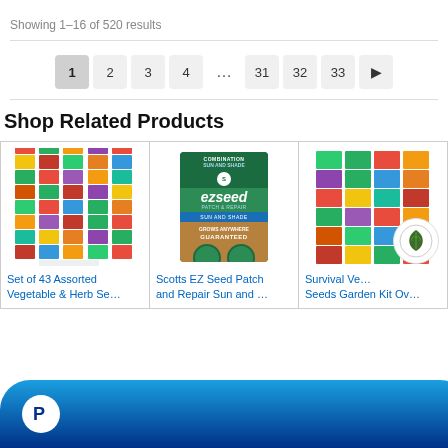Showing 1–16 of 520 results
Pagination: 1 2 3 4 … 31 32 33 ▶
Shop Related Products
[Figure (photo): Set of 43 Assorted Vegetable & Herb seed packets arranged in a grid pattern]
Set of 43 Assorted Vegetable & Herb Se...
[Figure (photo): Scotts EZ Seed Patch and Repair Sun and Shade bag]
Scotts EZ Seed Patch and Repair Sun and ...
[Figure (photo): Survival Vegetable Seeds Garden Kit with organic leaf logo overlay]
Survival Vegetable Seeds Garden Kit Ov...
[Figure (logo): PayPal payment button bar at bottom of page]